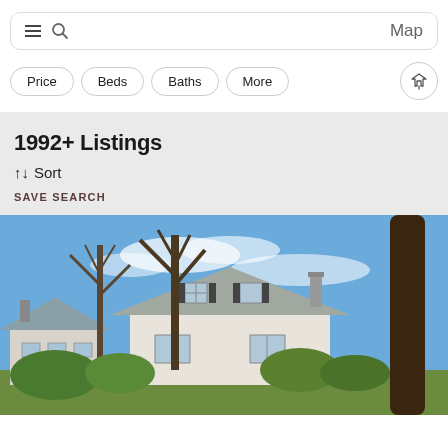Map
Price
Beds
Baths
More
1992+ Listings
↑↓ Sort
SAVE SEARCH
[Figure (photo): Exterior photo of a residential house with white/cream siding, gabled roof, large trees in background and foreground, blue sky with light clouds. Two-story home with shuttered windows visible.]